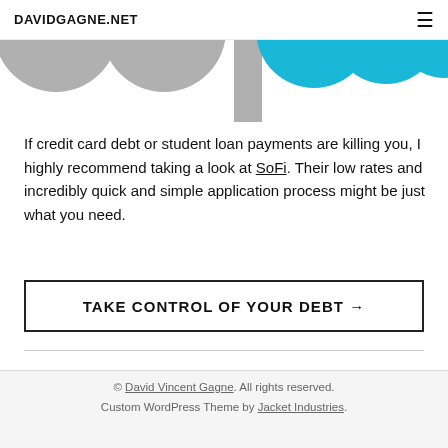DAVIDGAGNE.NET
[Figure (illustration): Partial view of circular icons — grey circles on the left side and cyan/teal circles on the right side, cropped at the top of the page]
If credit card debt or student loan payments are killing you, I highly recommend taking a look at SoFi. Their low rates and incredibly quick and simple application process might be just what you need.
TAKE CONTROL OF YOUR DEBT →
© David Vincent Gagne. All rights reserved. Custom WordPress Theme by Jacket Industries.